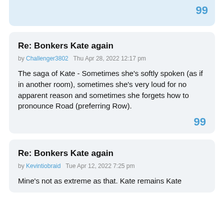[Figure (screenshot): Top partial forum post card with light blue background and a quote icon (99) in the bottom-right corner.]
Re: Bonkers Kate again
by Challenger3802   Thu Apr 28, 2022 12:17 pm
The saga of Kate - Sometimes she's softly spoken (as if in another room), sometimes she's very loud for no apparent reason and sometimes she forgets how to pronounce Road (preferring Row).
Re: Bonkers Kate again
by Kevintiobraid   Tue Apr 12, 2022 7:25 pm
Mine's not as extreme as that. Kate remains Kate...